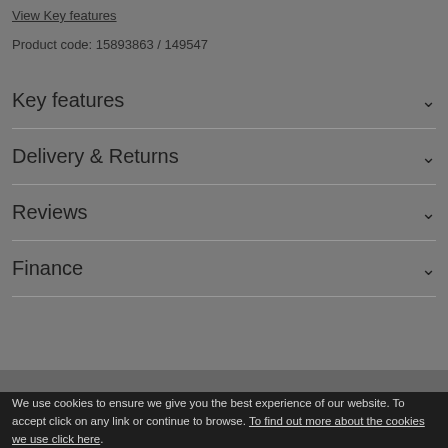View Key features
Product code: 15893863 / 149547
Key features
Delivery & Returns
Reviews
Finance
We use cookies to ensure we give you the best experience of our website. To accept click on any link or continue to browse. To find out more about the cookies we use click here.